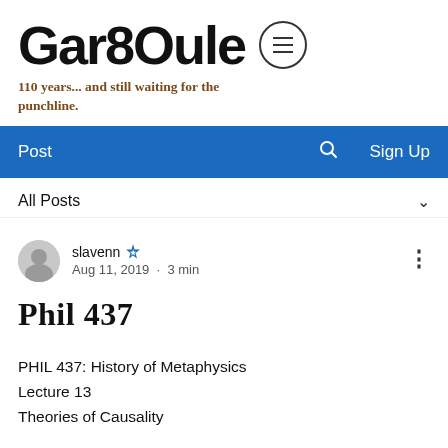[Figure (logo): Gargoyle publication logo in bold gothic/blackletter font with a circle menu icon]
110 years... and still waiting for the punchline.
Post  [search icon]  Sign Up
All Posts
slavenn  Aug 11, 2019 · 3 min
Phil 437
PHIL 437: History of Metaphysics
Lecture 13
Theories of Causality